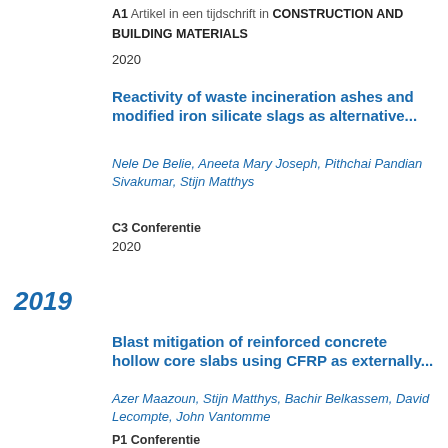A1 Artikel in een tijdschrift in CONSTRUCTION AND BUILDING MATERIALS
2020
Reactivity of waste incineration ashes and modified iron silicate slags as alternative...
Nele De Belie, Aneeta Mary Joseph, Pithchai Pandian Sivakumar, Stijn Matthys
C3 Conferentie
2020
2019
Blast mitigation of reinforced concrete hollow core slabs using CFRP as externally...
Azer Maazoun, Stijn Matthys, Bachir Belkassem, David Lecompte, John Vantomme
P1 Conferentie